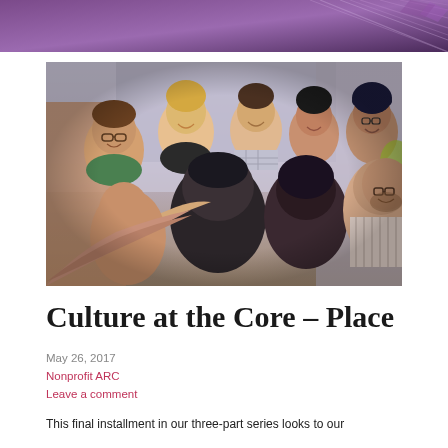[Figure (photo): Group of diverse people smiling and embracing in a circle, photographed from within the group]
Culture at the Core – Place
May 26, 2017
Nonprofit ARC
Leave a comment
This final installment in our three-part series looks to our...